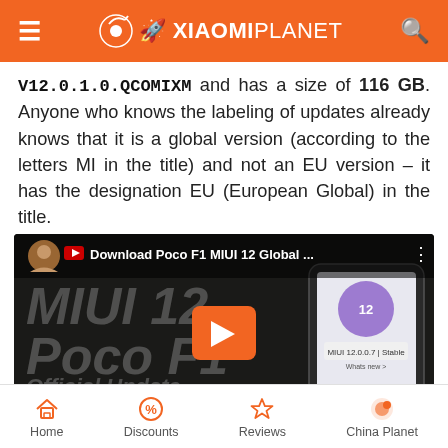XIAOMIPLANET
V12.0.1.0.QCOMIXM and has a size of 116 GB. Anyone who knows the labeling of updates already knows that it is a global version (according to the letters MI in the title) and not an EU version – it has the designation EU (European Global) in the title.
[Figure (screenshot): YouTube video thumbnail showing Download Poco F1 MIUI 12 Global ... with MIUI 12 Poco Official Update text overlay and a phone displaying MIUI 12.0.0.7 Stable update screen. Video duration shows -11:54.]
Home | Discounts | Reviews | China Planet